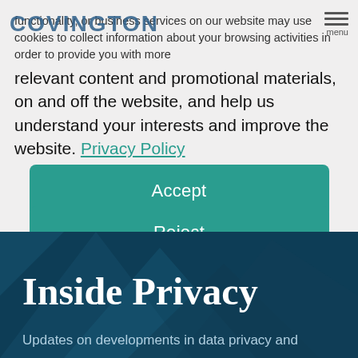COVINGTON  menu
functionality, or business services on our website may use cookies to collect information about your browsing activities in order to provide you with more relevant content and promotional materials, on and off the website, and help us understand your interests and improve the website. Privacy Policy
Accept
Reject
Inside Privacy
Updates on developments in data privacy and